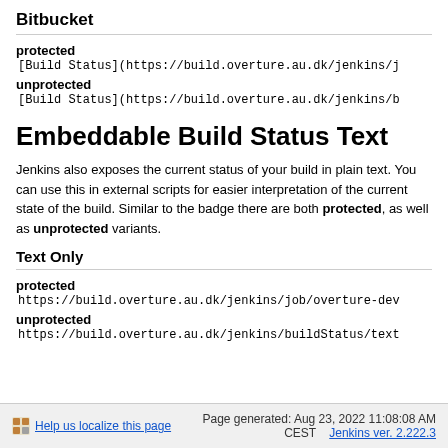Bitbucket
protected
[Build Status](https://build.overture.au.dk/jenkins/j
unprotected
[Build Status](https://build.overture.au.dk/jenkins/b
Embeddable Build Status Text
Jenkins also exposes the current status of your build in plain text. You can use this in external scripts for easier interpretation of the current state of the build. Similar to the badge there are both protected, as well as unprotected variants.
Text Only
protected
https://build.overture.au.dk/jenkins/job/overture-dev
unprotected
https://build.overture.au.dk/jenkins/buildStatus/text
Help us localize this page   Page generated: Aug 23, 2022 11:08:08 AM CEST   Jenkins ver. 2.222.3